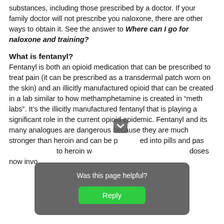substances, including those prescribed by a doctor. If your family doctor will not prescribe you naloxone, there are other ways to obtain it. See the answer to Where can I go for naloxone and training?
What is fentanyl?
Fentanyl is both an opioid medication that can be prescribed to treat pain (it can be prescribed as a transdermal patch worn on the skin) and an illicitly manufactured opioid that can be created in a lab similar to how methamphetamine is created in “meth labs”. It’s the illicitly manufactured fentanyl that is playing a significant role in the current opioid epidemic. Fentanyl and its many analogues are dangerous because they are much stronger than heroin and can be pressed into pills and passed off to heroin w[...]doses now invo[...]
[Figure (screenshot): A modal dialog overlay with dark semi-transparent background, asking 'Was this page helpful?' with a green 'Reply' button.]